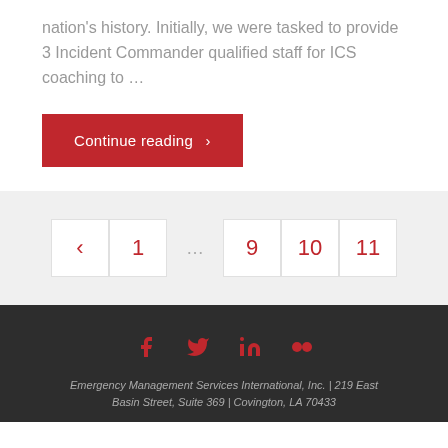nation's history. Initially, we were tasked to provide 3 Incident Commander qualified staff for ICS coaching to …
Continue reading  >
< 1 ... 9 10 11
[Figure (illustration): Social media icons: Facebook, Twitter, LinkedIn, Flickr in red on dark background]
Emergency Management Services International, Inc. | 219 East Basin Street, Suite 369 | Covington, LA 70433